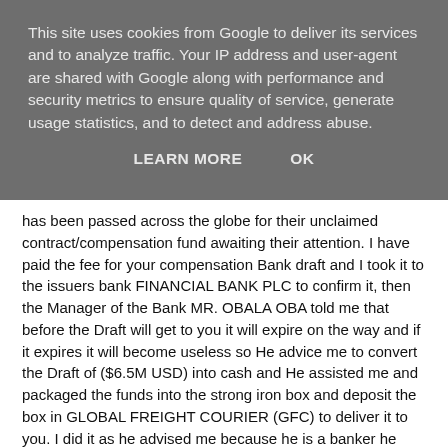This site uses cookies from Google to deliver its services and to analyze traffic. Your IP address and user-agent are shared with Google along with performance and security metrics to ensure quality of service, generate usage statistics, and to detect and address abuse.
LEARN MORE   OK
has been passed across the globe for their unclaimed contract/compensation fund awaiting their attention. I have paid the fee for your compensation Bank draft and I took it to the issuers bank FINANCIAL BANK PLC to confirm it, then the Manager of the Bank MR. OBALA OBA told me that before the Draft will get to you it will expire on the way and if it expires it will become useless so He advice me to convert the Draft of ($6.5M USD) into cash and He assisted me and packaged the funds into the strong iron box and deposit the box in GLOBAL FREIGHT COURIER (GFC) to deliver it to you. I did it as he advised me because he is a banker he knows the durability of any foreign cheque or draft. Note that I deposited the strong iron box in the GLOBAL FREIGHT COURIER (GFC) Benin Rep as Family valuable and Gift